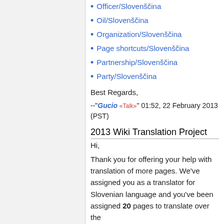Officer/Slovenščina
Oil/Slovenščina
Organization/Slovenščina
Page shortcuts/Slovenščina
Partnership/Slovenščina
Party/Slovenščina
Best Regards,
--"Gucio «Talk»" 01:52, 22 February 2013 (PST)
2013 Wiki Translation Project
Hi,
Thank you for offering your help with translation of more pages. We've assigned you as a translator for Slovenian language and you've been assigned 20 pages to translate over the